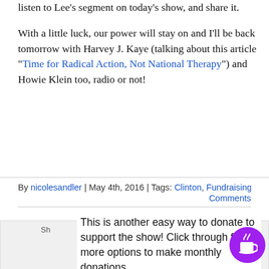listen to Lee's segment on today's show, and share it.
With a little luck, our power will stay on and I'll be back tomorrow with Harvey J. Kaye (talking about this article “Time for Radical Action, Not National Therapy”) and Howie Klein too, radio or not!
By nicolesandler | May 4th, 2016 | Tags: Clinton, Fundraising, Ken Vogel, Lee
Comments
This is another easy way to donate to support the show! Click through for more options to make monthly donations.
Sh orm!